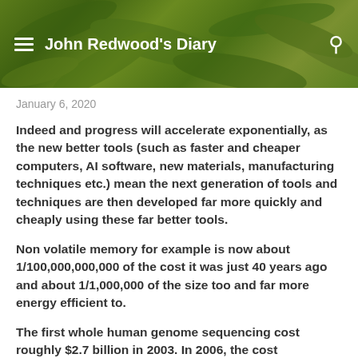John Redwood's Diary
January 6, 2020
Indeed and progress will accelerate exponentially, as the new better tools (such as faster and cheaper computers, AI software, new materials, manufacturing techniques etc.) mean the next generation of tools and techniques are then developed far more quickly and cheaply using these far better tools.
Non volatile memory for example is now about 1/100,000,000,000 of the cost it was just 40 years ago and about 1/1,000,000 of the size too and far more energy efficient to.
The first whole human genome sequencing cost roughly $2.7 billion in 2003. In 2006, the cost decreased to $300,000. In